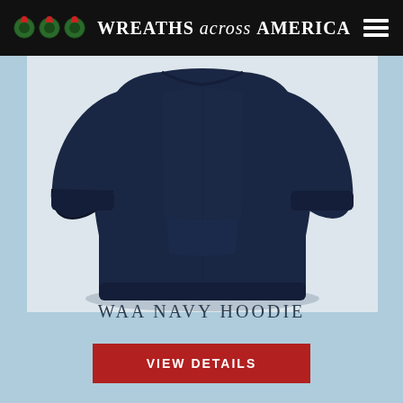WREATHS across AMERICA
[Figure (photo): Navy blue hoodie sweatshirt product photo shown from the front on a light background. The hoodie has ribbed cuffs and waistband, no visible logo on this view.]
WAA NAVY HOODIE
VIEW DETAILS